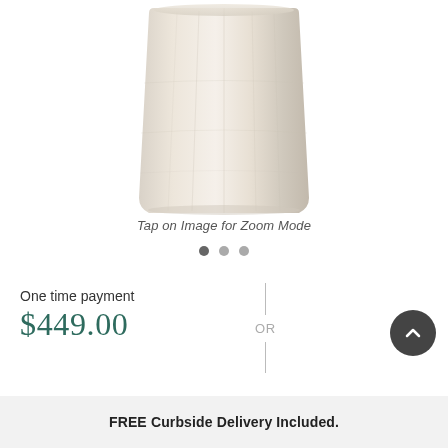[Figure (photo): Close-up view of a light beige/cream textured stone or wood pedestal stool, showing the top and upper portion of the piece against a white background.]
Tap on Image for Zoom Mode
One time payment
$449.00
OR
FREE Curbside Delivery Included.